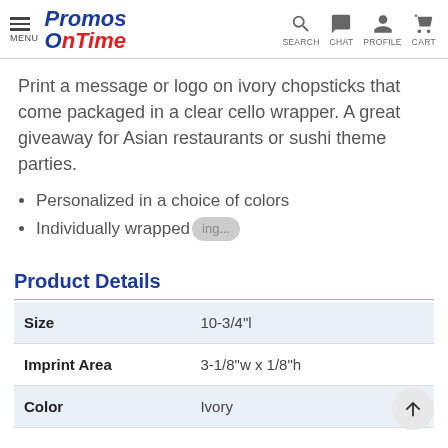Promos OnTime — MENU | SEARCH | CHAT | PROFILE | CART
Print a message or logo on ivory chopsticks that come packaged in a clear cello wrapper. A great giveaway for Asian restaurants or sushi theme parties.
Personalized in a choice of colors
Individually wrapped
Product Details
|  |  |
| --- | --- |
| Size | 10-3/4"l |
| Imprint Area | 3-1/8"w x 1/8"h |
| Color | Ivory |